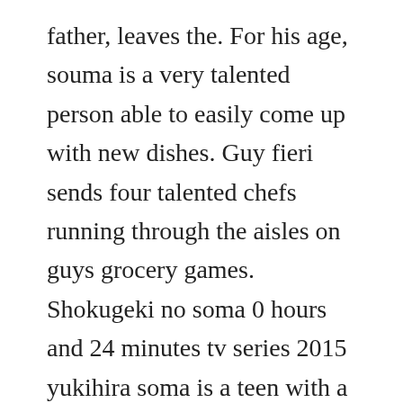father, leaves the. For his age, souma is a very talented person able to easily come up with new dishes. Guy fieri sends four talented chefs running through the aisles on guys grocery games. Shokugeki no soma 0 hours and 24 minutes tv series 2015 yukihira soma is a teen with a great enthusiasm for cooking. Food wars shokugeki no soma, bande 110 im sammelschuber. Nutritionists can use our food images for their presentations. In order to navigate out of this carousel please use your heading shortcut key to navigate to the next or